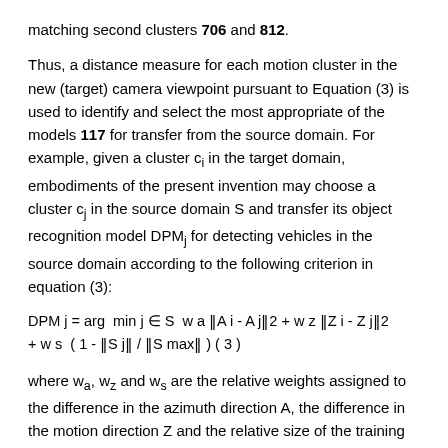matching second clusters 706 and 812.
Thus, a distance measure for each motion cluster in the new (target) camera viewpoint pursuant to Equation (3) is used to identify and select the most appropriate of the models 117 for transfer from the source domain. For example, given a cluster c_i in the target domain, embodiments of the present invention may choose a cluster c_j in the source domain S and transfer its object recognition model DPM_j for detecting vehicles in the source domain according to the following criterion in equation (3):
where w_a, w_z and w_s are the relative weights assigned to the difference in the azimuth direction A, the difference in the motion direction Z and the relative size of the training dataset |S| corresponding to cluster c_j, and which may be chosen by cross-validation. |S_j| is the cardinality of the training set of cluster c_j and (|S_max|) is the cardinality of